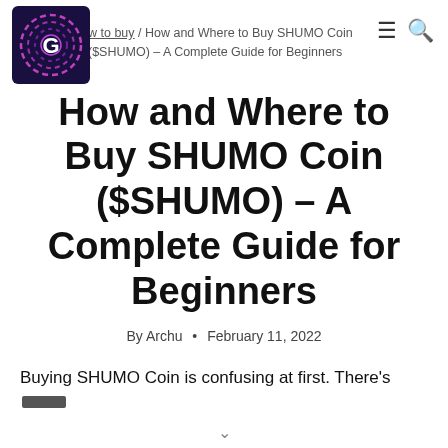[Figure (logo): Circular logo with a 'G' letter on dark purple/navy background with pink and blue spiral lines]
w to buy / How and Where to Buy SHUMO Coin ($SHUMO) – A Complete Guide for Beginners
How and Where to Buy SHUMO Coin ($SHUMO) – A Complete Guide for Beginners
By Archu • February 11, 2022
Buying SHUMO Coin is confusing at first. There's